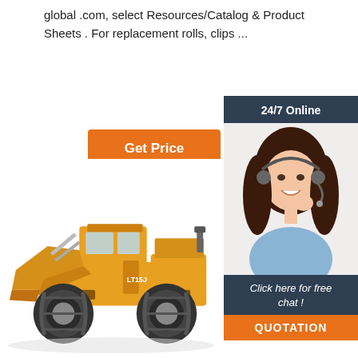global .com, select Resources/Catalog & Product Sheets . For replacement rolls, clips ...
Get Price
24/7 Online
[Figure (photo): Woman with headset smiling, customer service representative]
Click here for free chat !
QUOTATION
[Figure (photo): Yellow front loader / wheel loader construction machine]